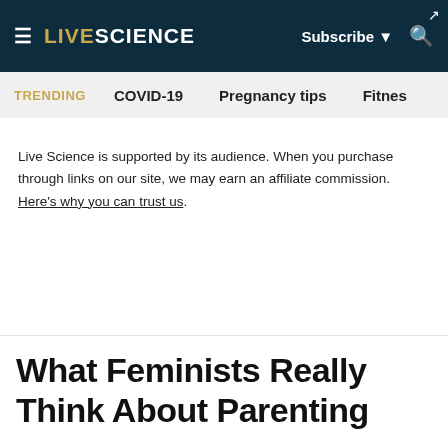LIVE SCIENCE — Subscribe — [search icon]
TRENDING   COVID-19   Pregnancy tips   Fitnes
Live Science is supported by its audience. When you purchase through links on our site, we may earn an affiliate commission. Here's why you can trust us.
What Feminists Really Think About Parenting